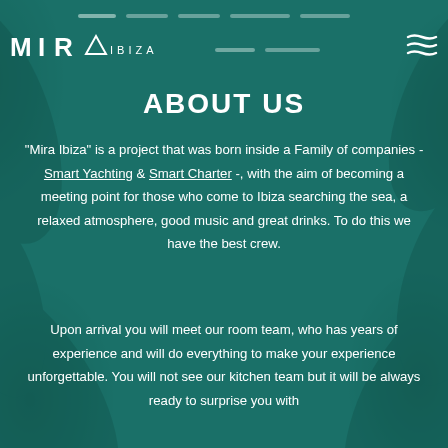[Figure (logo): MIRA IBIZA logo in white text with triangle/mountain symbol, on teal background with navigation lines and hamburger menu]
ABOUT US
"Mira Ibiza" is a project that was born inside a Family of companies - Smart Yachting & Smart Charter -, with the aim of becoming a meeting point for those who come to Ibiza searching the sea, a relaxed atmosphere, good music and great drinks. To do this we have the best crew.
Upon arrival you will meet our room team, who has years of experience and will do everything to make your experience unforgettable. You will not see our kitchen team but it will be always ready to surprise you with